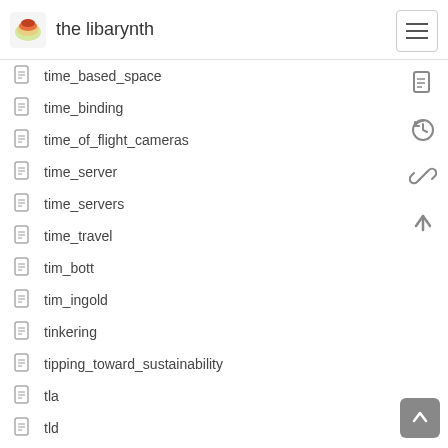the libarynth
time_based_space
time_binding
time_of_flight_cameras
time_server
time_servers
time_travel
tim_bott
tim_ingold
tinkering
tipping_toward_sustainability
tla
tld
tloen_uqbar_orbis_tertius
tlon_uqbar_orbis_tertius
tml
tms
todo
tofu
tofu_shrinks_brain